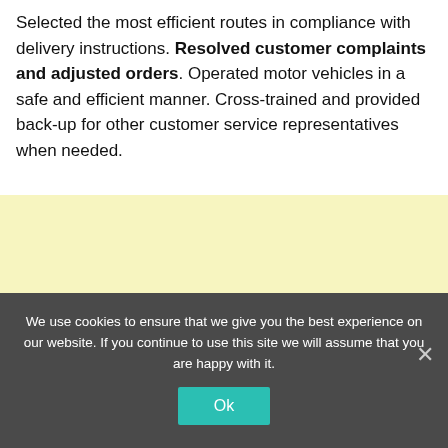Selected the most efficient routes in compliance with delivery instructions. Resolved customer complaints and adjusted orders. Operated motor vehicles in a safe and efficient manner. Cross-trained and provided back-up for other customer service representatives when needed.
[Figure (other): Yellow/cream colored advertisement block]
We use cookies to ensure that we give you the best experience on our website. If you continue to use this site we will assume that you are happy with it.